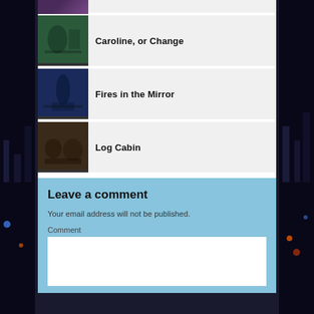[Figure (photo): Partial thumbnail of a theater production at the top of page]
Caroline, or Change
Fires in the Mirror
Log Cabin
Leave a comment
Your email address will not be published.
Comment